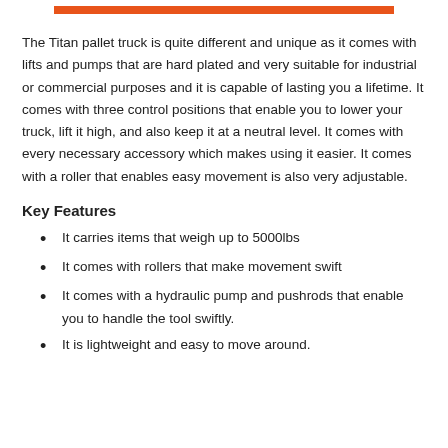[Figure (other): Orange horizontal decorative bar at top of page]
The Titan pallet truck is quite different and unique as it comes with lifts and pumps that are hard plated and very suitable for industrial or commercial purposes and it is capable of lasting you a lifetime. It comes with three control positions that enable you to lower your truck, lift it high, and also keep it at a neutral level. It comes with every necessary accessory which makes using it easier. It comes with a roller that enables easy movement is also very adjustable.
Key Features
It carries items that weigh up to 5000lbs
It comes with rollers that make movement swift
It comes with a hydraulic pump and pushrods that enable you to handle the tool swiftly.
It is lightweight and easy to move around.